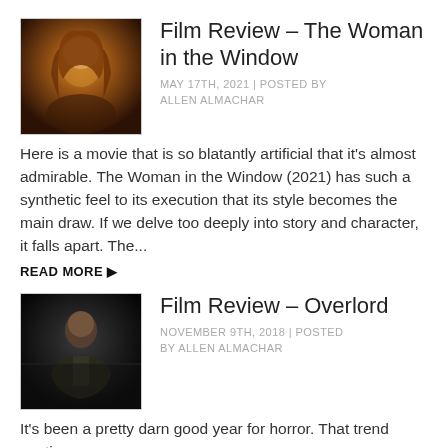[Figure (photo): Thumbnail image of a woman with red/brown hair in warm golden tones for Film Review - The Woman in the Window]
Film Review – The Woman in the Window
MAY 17TH, 2021 | POSTED BY ALLEN ALMACHAR
Here is a movie that is so blatantly artificial that it's almost admirable. The Woman in the Window (2021) has such a synthetic feel to its execution that its style becomes the main draw. If we delve too deeply into story and character, it falls apart. The...
READ MORE ▶
[Figure (photo): Thumbnail image of a man in dark military/army uniform for Film Review - Overlord]
Film Review – Overlord
NOVEMBER 9TH, 2018 | POSTED BY ALLEN ALMACHAR
It's been a pretty darn good year for horror. That trend continues